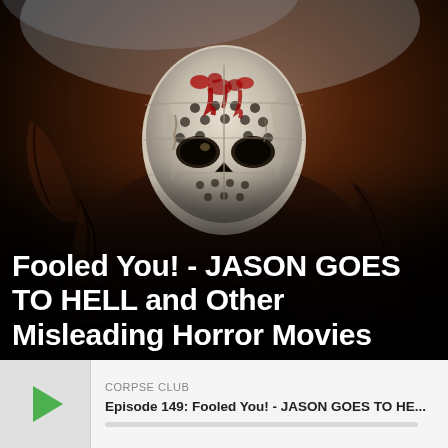[Figure (photo): Horror movie promotional image showing Jason Voorhees from Friday the 13th franchise, wearing his iconic white hockey mask covered in blood and gore, dressed in tattered dark clothing. The character is posed menacingly against a dark background. Large white bold text overlaid at the bottom reads: Fooled You! - JASON GOES TO HELL and Other Misleading Horror Movies]
CORPSE CLUB
Episode 149: Fooled You! - JASON GOES TO HE...